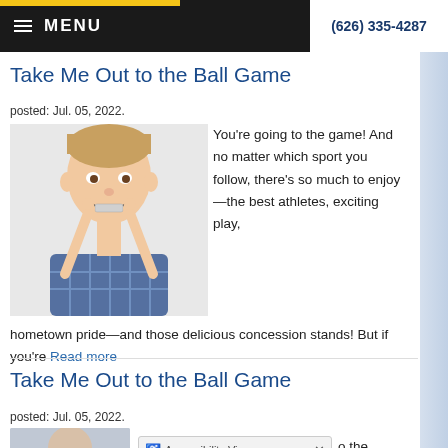≡ MENU    (626) 335-4287
Take Me Out to the Ball Game
posted: Jul. 05, 2022.
[Figure (photo): Young boy with braces smiling and pointing to his teeth with both index fingers, wearing a plaid shirt]
You're going to the game! And no matter which sport you follow, there's so much to enjoy—the best athletes, exciting play, hometown pride—and those delicious concession stands! But if you're Read more
Take Me Out to the Ball Game
posted: Jul. 05, 2022.
[Figure (photo): Partial view of a person at the bottom of the page, with an Accessibility View overlay bar]
o the